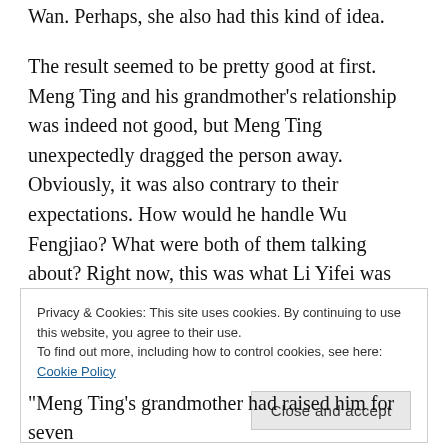Wan. Perhaps, she also had this kind of idea.
The result seemed to be pretty good at first. Meng Ting and his grandmother’s relationship was indeed not good, but Meng Ting unexpectedly dragged the person away. Obviously, it was also contrary to their expectations. How would he handle Wu Fengjiao? What were both of them talking about? Right now, this was what Li Yifei was concerned about in her mind.
Privacy & Cookies: This site uses cookies. By continuing to use this website, you agree to their use.
To find out more, including how to control cookies, see here: Cookie Policy
“Meng Ting’s grandmother had raised him for seven